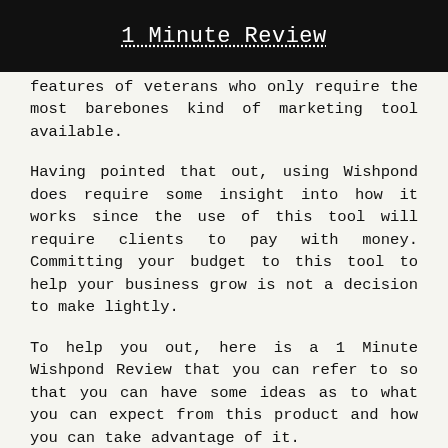1 Minute Review
features of veterans who only require the most barebones kind of marketing tool available.
Having pointed that out, using Wishpond does require some insight into how it works since the use of this tool will require clients to pay with money. Committing your budget to this tool to help your business grow is not a decision to make lightly.
To help you out, here is a 1 Minute Wishpond Review that you can refer to so that you can have some ideas as to what you can expect from this product and how you can take advantage of it.